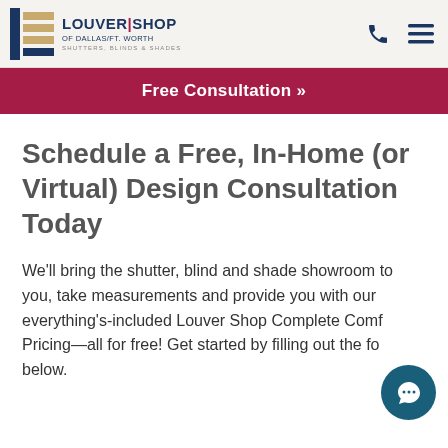[Figure (logo): Louver Shop of Dallas/Ft. Worth logo with blue vertical bar and horizontal slats icon, company name and tagline SHUTTERS, BLINDS & SHADES]
Free Consultation »
Schedule a Free, In-Home (or Virtual) Design Consultation Today
We'll bring the shutter, blind and shade showroom to you, take measurements and provide you with our everything's-included Louver Shop Complete Comfort Pricing—all for free! Get started by filling out the form below.